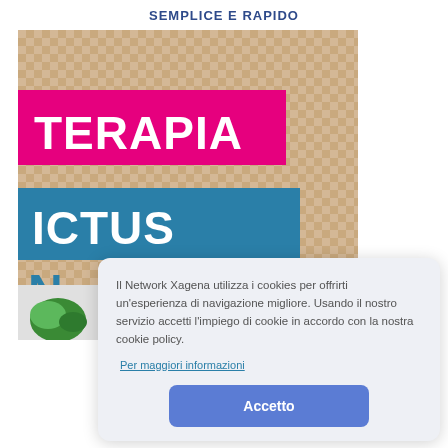SEMPLICE E RAPIDO
[Figure (illustration): Composite image area with checkered transparent background, a magenta banner reading TERAPIA, a teal banner reading ICTUS, and a partial letter N below, with a vegetable/food image strip at the bottom.]
Il Network Xagena utilizza i cookies per offrirti un'esperienza di navigazione migliore. Usando il nostro servizio accetti l'impiego di cookie in accordo con la nostra cookie policy.
Per maggiori informazioni
Accetto